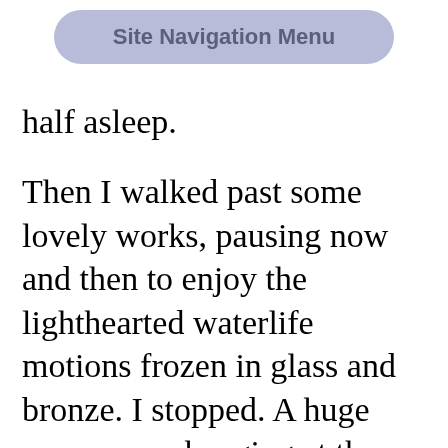[Figure (screenshot): Site Navigation Menu button — a rounded pill-shaped button with light blue-purple background and grey text reading 'Site Navigation Menu']
half asleep.
Then I walked past some lovely works, pausing now and then to enjoy the lighthearted waterlife motions frozen in glass and bronze. I stopped. A huge canvas was hanging at the end of a dark platform. There were Wyland's whales.